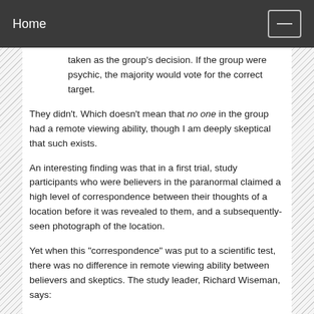Home
taken as the group's decision. If the group were psychic, the majority would vote for the correct target.
They didn't. Which doesn't mean that no one in the group had a remote viewing ability, though I am deeply skeptical that such exists.
An interesting finding was that in a first trial, study participants who were believers in the paranormal claimed a high level of correspondence between their thoughts of a location before it was revealed to them, and a subsequently-seen photograph of the location.
Yet when this "correspondence" was put to a scientific test, there was no difference in remote viewing ability between believers and skeptics. The study leader, Richard Wiseman, says:
So what did we learn? Well, the study didn't support the existence of remote viewing and suggests that those who believe in the paranormal